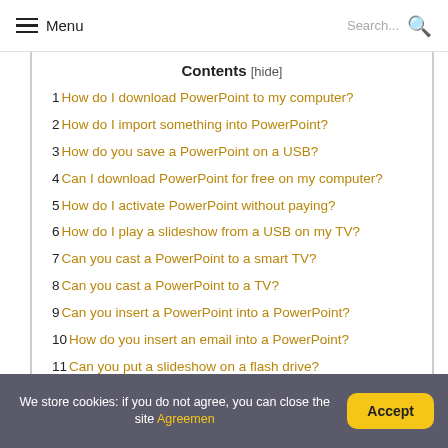Menu  Search...
Contents [hide]
1 How do I download PowerPoint to my computer?
2 How do I import something into PowerPoint?
3 How do you save a PowerPoint on a USB?
4 Can I download PowerPoint for free on my computer?
5 How do I activate PowerPoint without paying?
6 How do I play a slideshow from a USB on my TV?
7 Can you cast a PowerPoint to a smart TV?
8 Can you cast a PowerPoint to a TV?
9 Can you insert a PowerPoint into a PowerPoint?
10 How do you insert an email into a PowerPoint?
11 Can you put a slideshow on a flash drive?
We store cookies: if you do not agree, you can close the site Agreemen  Accept